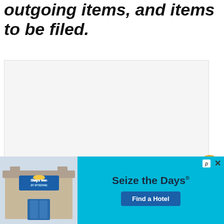outgoing items, and items to be filed.
[Figure (other): Large white/light gray rectangular image area (content not visible)]
[Figure (infographic): UI overlay with heart (favorites) button in orange circle, share count badge showing '1', and share button in black circle]
[Figure (infographic): What's Next banner showing thumbnail image and text 'WHAT'S NEXT → How Do You know If You...' on dark background]
[Figure (photo): Days Inn by Wyndham hotel exterior photo with advertisement overlay: 'Seize the Days® / Find a Hotel' on cyan/blue background]